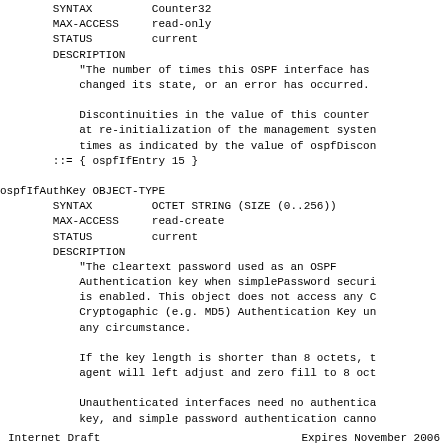SYNTAX         Counter32
        MAX-ACCESS     read-only
        STATUS         current
        DESCRIPTION
            "The number of times this OSPF interface has
            changed its state, or an error has occurred.

            Discontinuities in the value of this counter
            at re-initialization of the management system
            times as indicated by the value of ospfDiscon
        ::= { ospfIfEntry 15 }

ospfIfAuthKey OBJECT-TYPE
        SYNTAX         OCTET STRING (SIZE (0..256))
        MAX-ACCESS     read-create
        STATUS         current
        DESCRIPTION
            "The cleartext password used as an OSPF
            Authentication key when simplePassword securi
            is enabled. This object does not access any C
            Cryptogaphic (e.g. MD5) Authentication Key un
            any circumstance.

            If the key length is shorter than 8 octets, t
            agent will left adjust and zero fill to 8 oct

            Unauthenticated interfaces need no authentica
            key, and simple password authentication canno
Internet Draft                  Expires November 2006